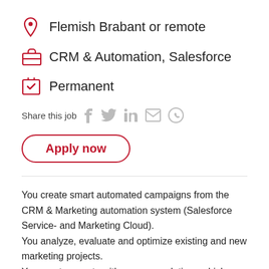Flemish Brabant or remote
CRM & Automation, Salesforce
Permanent
Share this job
Apply now
You create smart automated campaigns from the CRM & Marketing automation system (Salesforce Service- and Marketing Cloud). You analyze, evaluate and optimize existing and new marketing projects. You create reports with recommendations which you implement.